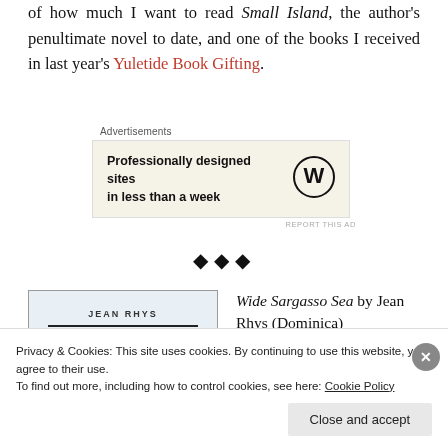of how much I want to read Small Island, the author's penultimate novel to date, and one of the books I received in last year's Yuletide Book Gifting.
[Figure (infographic): Advertisement box with WordPress logo: 'Professionally designed sites in less than a week']
❖ ❖ ❖
[Figure (photo): Book cover of Wide Sargasso Sea by Jean Rhys, light blue background with author name and title in bold lettering]
Wide Sargasso Sea by Jean Rhys (Dominica)
Privacy & Cookies: This site uses cookies. By continuing to use this website, you agree to their use. To find out more, including how to control cookies, see here: Cookie Policy